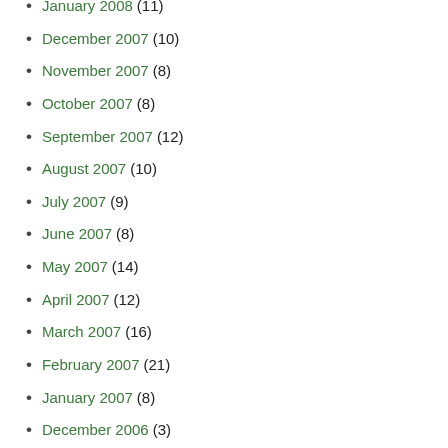January 2008 (11)
December 2007 (10)
November 2007 (8)
October 2007 (8)
September 2007 (12)
August 2007 (10)
July 2007 (9)
June 2007 (8)
May 2007 (14)
April 2007 (12)
March 2007 (16)
February 2007 (21)
January 2007 (8)
December 2006 (3)
November 2006 (5)
October 2006 (14)
September 2006 (7)
August 2006 (8)
July 2006 (4)